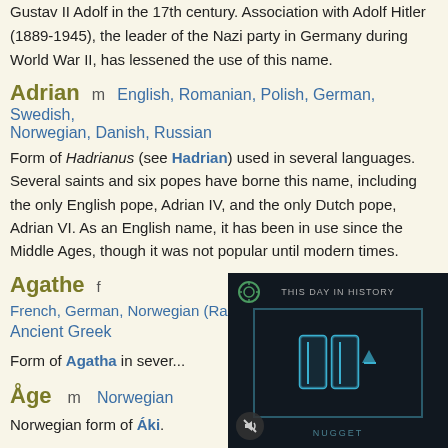Gustav II Adolf in the 17th century. Association with Adolf Hitler (1889-1945), the leader of the Nazi party in Germany during World War II, has lessened the use of this name.
Adrian   m   English, Romanian, Polish, German, Swedish, Norwegian, Danish, Russian
Form of Hadrianus (see Hadrian) used in several languages. Several saints and six popes have borne this name, including the only English pope, Adrian IV, and the only Dutch pope, Adrian VI. As an English name, it has been in use since the Middle Ages, though it was not popular until modern times.
Agathe   f   French, German, Norwegian (Rare), Danish (Rare), Ancient Greek
Form of Agatha in sever...
Åge   m   Norwegian
Norwegian form of Áki.
Agnar   m   Norwegia...
From the Old Norse name... egg "edge of a sword" co...
[Figure (screenshot): Video player overlay showing 'THIS DAY IN HISTORY' with a play button icon and brand logo, dark background]